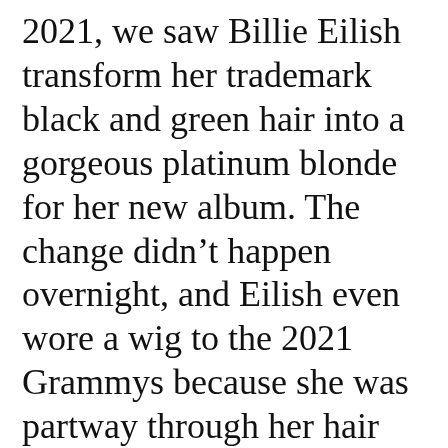2021, we saw Billie Eilish transform her trademark black and green hair into a gorgeous platinum blonde for her new album. The change didn't happen overnight, and Eilish even wore a wig to the 2021 Grammys because she was partway through her hair transformation. “The process is real when you’re doing it right,” Eilish’s hairstylist Lissa Renn told Vanity Fair. “Six weeks to get all the black out of her ends without damaging it, along with her following my strict hair care regime. We actually loved all the stages of lifting the color too but the [text continues]